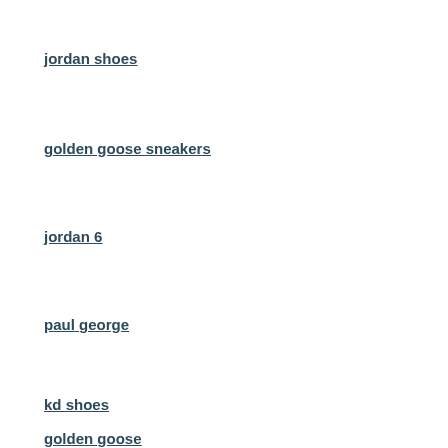jordan shoes
golden goose sneakers
jordan 6
paul george
kd shoes
golden goose